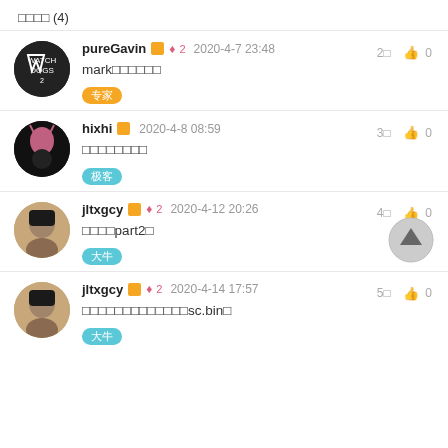□□□□ (4)
pureGavin 🏅 💎2 2020-4-7 23:48   2□  👍 0
mark□□□□□□
[tag: 专家]
hixhi 🏅 2020-4-8 08:59   3□  👍 0
□□□□□□□□
[tag: 极客]
jltxgcy 🏅 💎2 2020-4-12 20:26   4□  👍 0
□□□□part2□
[tag: 大牛]
jltxgcy 🏅 💎2 2020-4-14 17:57   5□  👍 0
□□□□□□□□□□□□□sc.bin□
[tag: 大牛]